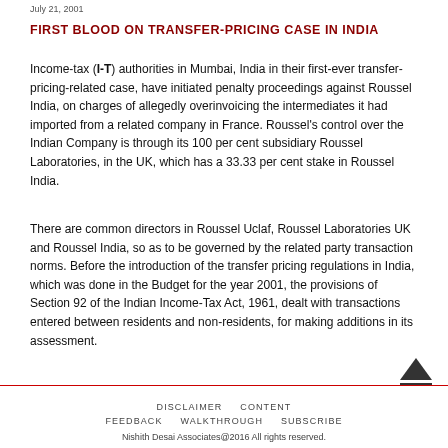July 21, 2001
FIRST BLOOD ON TRANSFER-PRICING CASE IN INDIA
Income-tax (I-T) authorities in Mumbai, India in their first-ever transfer-pricing-related case, have initiated penalty proceedings against Roussel India, on charges of allegedly overinvoicing the intermediates it had imported from a related company in France. Roussel's control over the Indian Company is through its 100 per cent subsidiary Roussel Laboratories, in the UK, which has a 33.33 per cent stake in Roussel India.
There are common directors in Roussel Uclaf, Roussel Laboratories UK and Roussel India, so as to be governed by the related party transaction norms. Before the introduction of the transfer pricing regulations in India, which was done in the Budget for the year 2001, the provisions of Section 92 of the Indian Income-Tax Act, 1961, dealt with transactions entered between residents and non-residents, for making additions in its assessment.
Interestingly, the Revenue department in this case did the transfer-pricing assessment much before the government enacted the new transfer-pricing laws.
The department has contended that the over-invoicing was done for the purpose of recording a loss and, thereby, evading taxes in India. The
DISCLAIMER   CONTENT   FEEDBACK   WALKTHROUGH   SUBSCRIBE
Nishith Desai Associates@2016 All rights reserved.